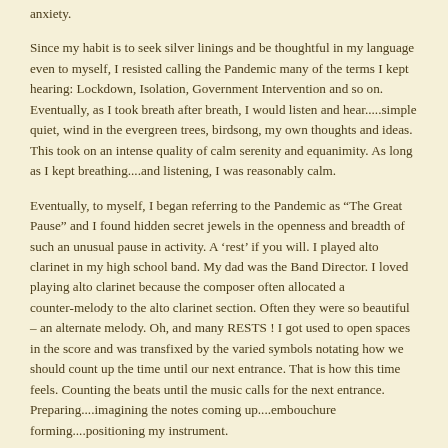anxiety.
Since my habit is to seek silver linings and be thoughtful in my language even to myself, I resisted calling the Pandemic many of the terms I kept hearing: Lockdown, Isolation, Government Intervention and so on. Eventually, as I took breath after breath, I would listen and hear.....simple quiet, wind in the evergreen trees, birdsong, my own thoughts and ideas. This took on an intense quality of calm serenity and equanimity. As long as I kept breathing....and listening, I was reasonably calm.
Eventually, to myself, I began referring to the Pandemic as “The Great Pause” and I found hidden secret jewels in the openness and breadth of such an unusual pause in activity. A ‘rest’ if you will. I played alto clarinet in my high school band. My dad was the Band Director. I loved playing alto clarinet because the composer often allocated a counter-melody to the alto clarinet section. Often they were so beautiful – an alternate melody. Oh, and many RESTS ! I got used to open spaces in the score and was transfixed by the varied symbols notating how we should count up the time until our next entrance. That is how this time feels. Counting the beats until the music calls for the next entrance. Preparing....imagining the notes coming up....embouchure forming....positioning my instrument.